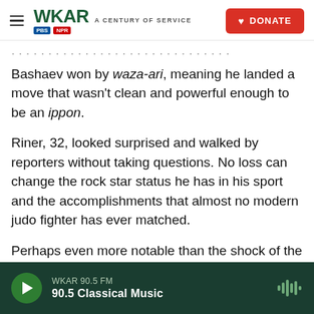WKAR A CENTURY OF SERVICE | DONATE
Bashaev won by waza-ari, meaning he landed a move that wasn't clean and powerful enough to be an ippon.
Riner, 32, looked surprised and walked by reporters without taking questions. No loss can change the rock star status he has in his sport and the accomplishments that almost no modern judo fighter has ever matched.
Perhaps even more notable than the shock of the quarterfinal was the way Riner roared back.
WKAR 90.5 FM | 90.5 Classical Music